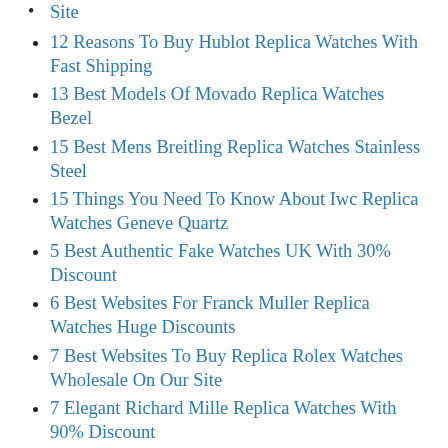12 Reasons To Buy Hublot Replica Watches With Fast Shipping
13 Best Models Of Movado Replica Watches Bezel
15 Best Mens Breitling Replica Watches Stainless Steel
15 Things You Need To Know About Iwc Replica Watches Geneve Quartz
5 Best Authentic Fake Watches UK With 30% Discount
6 Best Websites For Franck Muller Replica Watches Huge Discounts
7 Best Websites To Buy Replica Rolex Watches Wholesale On Our Site
7 Elegant Richard Mille Replica Watches With 90% Discount